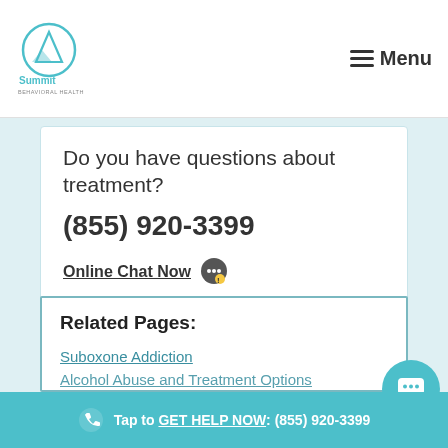Summit Behavioral Health | Menu
Do you have questions about treatment?
(855) 920-3399
Online Chat Now 💬
Related Pages:
Suboxone Addiction
Alcohol Abuse and Treatment Options
Tap to GET HELP NOW: (855) 920-3399